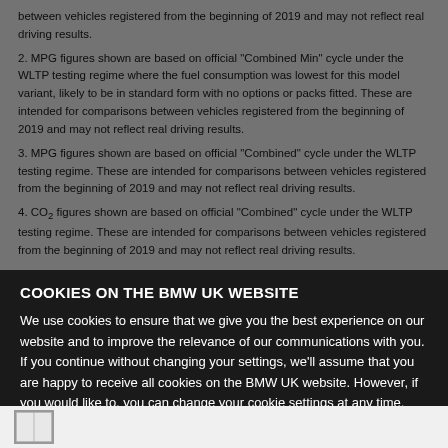between vehicles registered from the beginning of 2019 and may not reflect real driving results.
2. MPG figures shown are based on official "Combined Min" cycle under the WLTP testing regime where the fuel consumption was lowest for this model variant, likely to be in standard form with no options or packs fitted. These are intended for comparisons between vehicles registered from the beginning of 2019 and may not reflect real driving results.
3. MPG figures shown are based on official "Combined" cycle under the WLTP testing regime. These are intended for comparisons between vehicles registered from the beginning of 2019 and may not...
4. CO2 figures shown are based on official "Combined" cycle under the WLTP testing regime. These are intended for comparisons between vehicles registered from the beginning of 2019 and...
COOKIES ON THE BMW UK WEBSITE
We use cookies to ensure that we give you the best experience on our website and to improve the relevance of our communications with you. If you continue without changing your settings, we’ll assume that you are happy to receive all cookies on the BMW UK website. However, if you would like to, you can change your cookie settings at any time. You can find detailed information about how cookies are used on this website by clicking on ‘Find out more’.
Find out more
Find a BMW Centre
OK